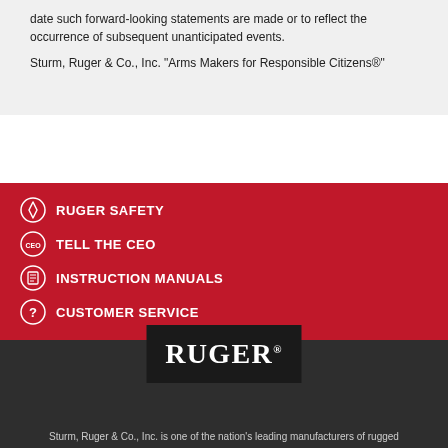date such forward-looking statements are made or to reflect the occurrence of subsequent unanticipated events.
Sturm, Ruger & Co., Inc. "Arms Makers for Responsible Citizens®"
RUGER SAFETY
TELL THE CEO
INSTRUCTION MANUALS
CUSTOMER SERVICE
[Figure (logo): Ruger logo — black rectangle with white RUGER serif text]
Sturm, Ruger & Co., Inc. is one of the nation's leading manufacturers of rugged